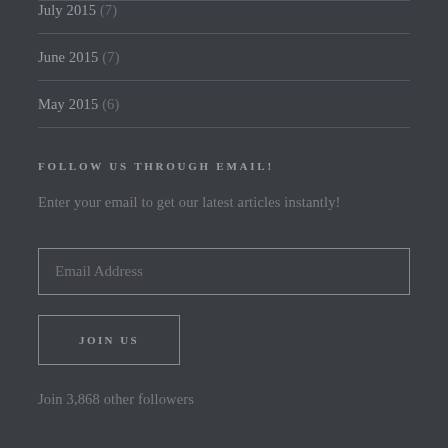July 2015 (7)
June 2015 (7)
May 2015 (6)
FOLLOW US THROUGH EMAIL!
Enter your email to get our latest articles instantly!
Email Address
JOIN US
Join 3,868 other followers